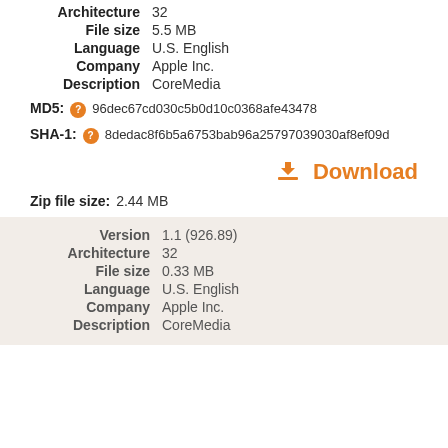Architecture  32
File size  5.5 MB
Language  U.S. English
Company  Apple Inc.
Description  CoreMedia
MD5:  96dec67cd030c5b0d10c0368afe43478
SHA-1:  8dedac8f6b5a6753bab96a25797039030af8ef09d
Download
Zip file size:  2.44 MB
Version  1.1 (926.89)
Architecture  32
File size  0.33 MB
Language  U.S. English
Company  Apple Inc.
Description  CoreMedia